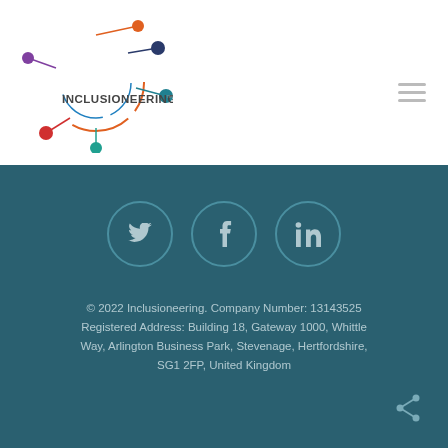[Figure (logo): Inclusioneering logo with colorful interconnected nodes and the text INCLUSIONEERING]
© 2022 Inclusioneering. Company Number: 13143525 Registered Address: Building 18, Gateway 1000, Whittle Way, Arlington Business Park, Stevenage, Hertfordshire, SG1 2FP, United Kingdom